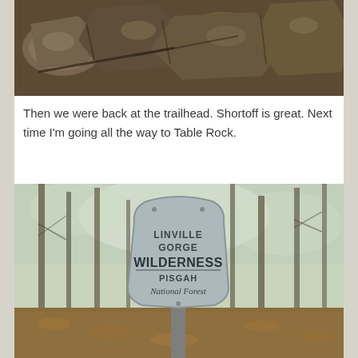[Figure (photo): Close-up photo of rocky stones on a trail or ground surface, brownish-gray rocks piled together]
Then we were back at the trailhead. Shortoff is great. Next time I'm going all the way to Table Rock.
[Figure (photo): Photo of a wilderness sign in a forest setting. The sign reads 'LINVILLE GORGE WILDERNESS, PISGAH National Forest' on a stone-shaped marker, surrounded by bare trees and fallen leaves.]